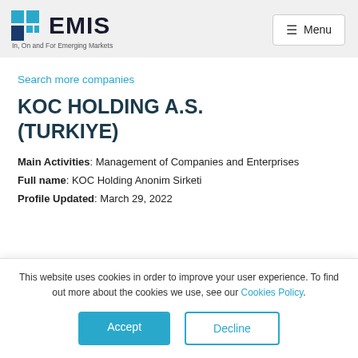[Figure (logo): EMIS logo with colored squares and text 'In, On and For Emerging Markets']
Search more companies
KOC HOLDING A.S. (TURKIYE)
Main Activities: Management of Companies and Enterprises
Full name: KOC Holding Anonim Sirketi
Profile Updated: March 29, 2022
This website uses cookies in order to improve your user experience. To find out more about the cookies we use, see our Cookies Policy.